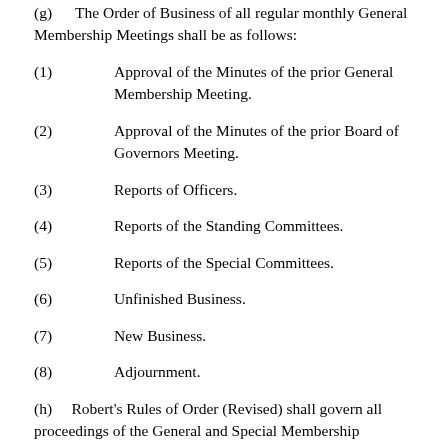(g) The Order of Business of all regular monthly General Membership Meetings shall be as follows:
(1) Approval of the Minutes of the prior General Membership Meeting.
(2) Approval of the Minutes of the prior Board of Governors Meeting.
(3) Reports of Officers.
(4) Reports of the Standing Committees.
(5) Reports of the Special Committees.
(6) Unfinished Business.
(7) New Business.
(8) Adjournment.
(h) Robert's Rules of Order (Revised) shall govern all proceedings of the General and Special Membership Meetings of this Society, except where the same conflict with